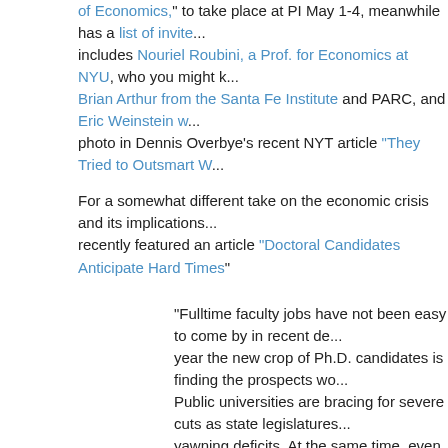of Economics," to take place at PI May 1-4, meanwhile has a list of invite... includes Nouriel Roubini, a Prof. for Economics at NYU, who you might k... Brian Arthur from the Santa Fe Institute and PARC, and Eric Weinstein w... photo in Dennis Overbye's recent NYT article "They Tried to Outsmart W...
For a somewhat different take on the economic crisis and its implications... recently featured an article "Doctoral Candidates Anticipate Hard Times"
“Fulltime faculty jobs have not been easy to come by in recent de... year the new crop of Ph.D. candidates is finding the prospects wo... Public universities are bracing for severe cuts as state legislatures... yawning deficits. At the same time, even the wealthiest private col... their endowments sink and donations slacken since the financial c... has set in at many higher education institutions, where partial or f... freezes have been imposed.”
The Globe and Mail today offers a similarly depressing piece “Black days... the ivory tower - Graduate students hoping for tenure-track positions face... universities cut budgets and freeze hiring” which cites Mr. Burgoyne, pre... postgraduate student society with saying “People are very worried. Peop... they are just disappearing.”
Meanwhile, the APS is conducting a survey How is the economic downtu...